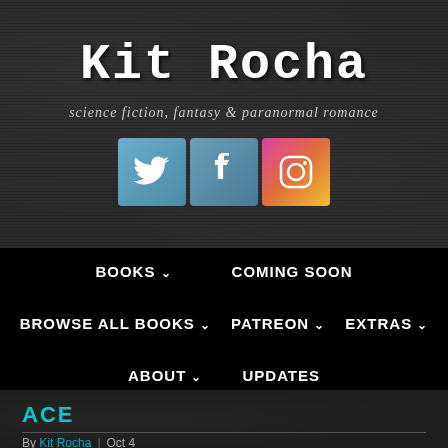Kit Rocha
science fiction, fantasy & paranormal romance
[Figure (logo): Three social media icons: Twitter (blue), Facebook (blue), Instagram (gradient pink/orange/yellow)]
BOOKS ∨   COMING SOON
BROWSE ALL BOOKS ∨   PATREON ∨   EXTRAS ∨
ABOUT ∨   UPDATES
ACE
By Kit Rocha | Oct 4